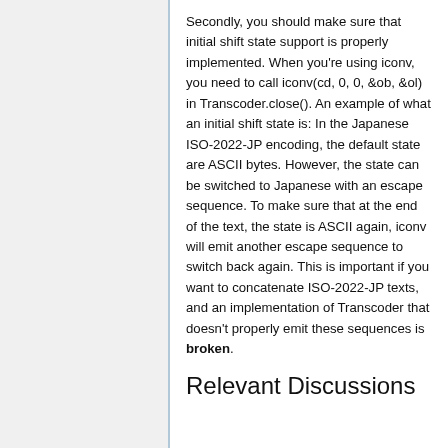Secondly, you should make sure that initial shift state support is properly implemented. When you're using iconv, you need to call iconv(cd, 0, 0, &ob, &ol) in Transcoder.close(). An example of what an initial shift state is: In the Japanese ISO-2022-JP encoding, the default state are ASCII bytes. However, the state can be switched to Japanese with an escape sequence. To make sure that at the end of the text, the state is ASCII again, iconv will emit another escape sequence to switch back again. This is important if you want to concatenate ISO-2022-JP texts, and an implementation of Transcoder that doesn't properly emit these sequences is broken.
Relevant Discussions